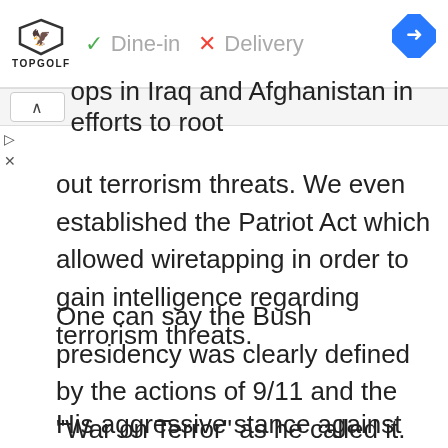[Figure (screenshot): Topgolf advertisement banner showing Dine-in checkmark and Delivery X mark, with a blue map/directions diamond icon on the right]
ops in Iraq and Afghanistan in efforts to root out terrorism threats. We even established the Patriot Act which allowed wiretapping in order to gain intelligence regarding terrorism threats.
One can say the Bush presidency was clearly defined by the actions of 9/11 and the “War on Terror” as he called it.
His aggressive stance against terrorism kept us safe during his presidency.